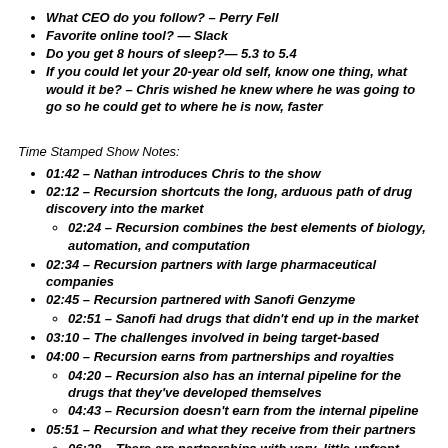What CEO do you follow? – Perry Fell
Favorite online tool? — Slack
Do you get 8 hours of sleep?— 5.3 to 5.4
If you could let your 20-year old self, know one thing, what would it be? – Chris wished he knew where he was going to go so he could get to where he is now, faster
Time Stamped Show Notes:
01:42 – Nathan introduces Chris to the show
02:12 – Recursion shortcuts the long, arduous path of drug discovery into the market
02:24 – Recursion combines the best elements of biology, automation, and computation
02:34 – Recursion partners with large pharmaceutical companies
02:45 – Recursion partnered with Sanofi Genzyme
02:51 – Sanofi had drugs that didn't end up in the market
03:10 – The challenges involved in being target-based
04:00 – Recursion earns from partnerships and royalties
04:20 – Recursion also has an internal pipeline for the drugs that they've developed themselves
04:43 – Recursion doesn't earn from the internal pipeline
05:51 – Recursion and what they receive from their partners
06:28 – There are partnerships with very, little upfront